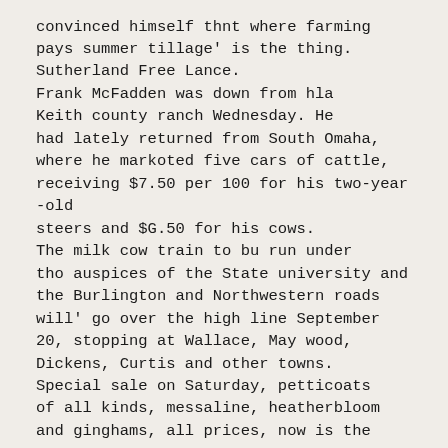convinced himself thnt where farming pays summer tillage' is the thing. Sutherland Free Lance.
Frank McFadden was down from hla Keith county ranch Wednesday. He had lately returned from South Omaha, where he markoted five cars of cattle, receiving $7.50 per 100 for his two-year-old
steers and $G.50 for his cows.
The milk cow train to bu run under tho auspices of the State university and the Burlington and Northwestern roads will' go over the high line September 20, stopping at Wallace, May wood, Dickens, Curtis and other towns.
Special sale on Saturday, petticoats of all kinds, messaline, heatherbloom and ginghams, all prices, now is the